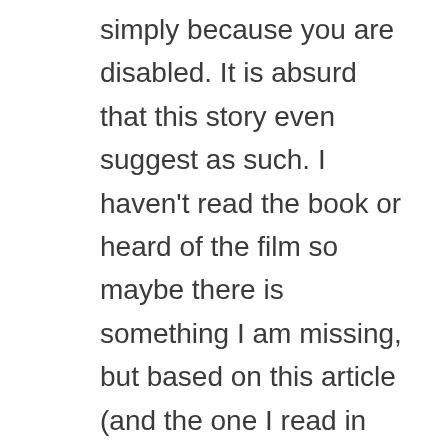simply because you are disabled. It is absurd that this story even suggest as such. I haven't read the book or heard of the film so maybe there is something I am missing, but based on this article (and the one I read in Huffington Post) I am writing this response. I became disabled and unable to work at the age of 35. I have a progressive, degenerative neuromuscular disease. It is called Primary Lateral Sclerosis or upper motor neuron disease. It is related to ALS (Lou Gehrig's disease), though it is not fatal. Some people who have been diagnosed with PLS, however, actually have ALS (a much slower progressing form) and ultimately develop the lower motor neuron involvement that means ALS. ALS is a fatal disease that typically kills within 2 to 5 years. In states like Oregon, where I